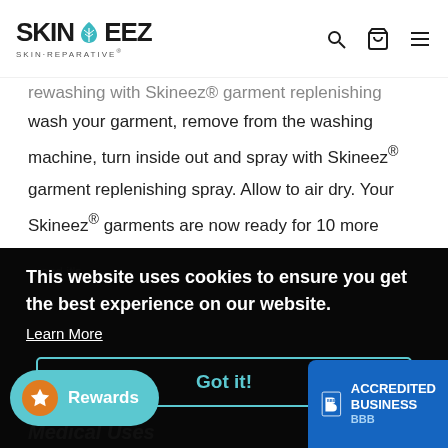SKINEEZ SKIN·REPARATIVE®
rewashing with Skineez® garment replenishing spray. Simply wash your garment, remove from the washing machine, turn inside out and spray with Skineez® garment replenishing spray. Allow to air dry. Your Skineez® garments are now ready for 10 more washings and wearing before infusement is needed.
This website uses cookies to ensure you get the best experience on our website.
Learn More
Got it!
Rewards
ACCREDITED BUSINESS BBB
Medical Uses